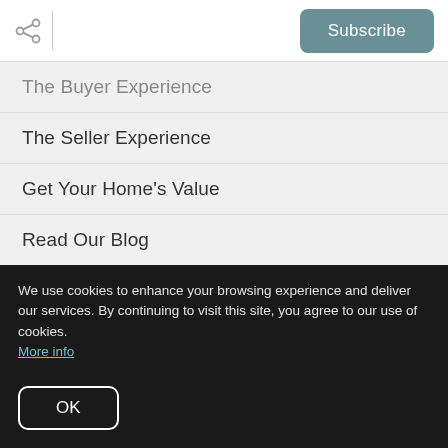[Figure (other): Share icon (network share symbol) and a vertical divider line on the left, and a teal Subscribe button on the right, in a white top navigation bar]
The Buyer Experience
The Seller Experience
Get Your Home's Value
Read Our Blog
Schedule a Call
Mortgage Calculator
Sold Gallery
We use cookies to enhance your browsing experience and deliver our services. By continuing to visit this site, you agree to our use of cookies. More info
OK